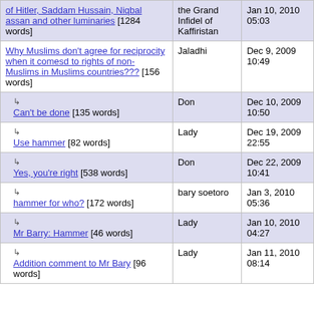| Title | Author | Date |
| --- | --- | --- |
| of Hitler, Saddam Hussain, Niqbal assan and other luminaries [1284 words] | the Grand Infidel of Kaffiristan | Jan 10, 2010 05:03 |
| Why Muslims don't agree for reciprocity when it comesd to rights of non-Muslims in Muslims countries??? [156 words] | Jaladhi | Dec 9, 2009 10:49 |
| ↳ Can't be done [135 words] | Don | Dec 10, 2009 10:50 |
| ↳ Use hammer [82 words] | Lady | Dec 19, 2009 22:55 |
| ↳ Yes, you're right [538 words] | Don | Dec 22, 2009 10:41 |
| ↳ hammer for who? [172 words] | bary soetoro | Jan 3, 2010 05:36 |
| ↳ Mr Barry: Hammer [46 words] | Lady | Jan 10, 2010 04:27 |
| ↳ Addition comment to Mr Bary [96 words] | Lady | Jan 11, 2010 08:14 |